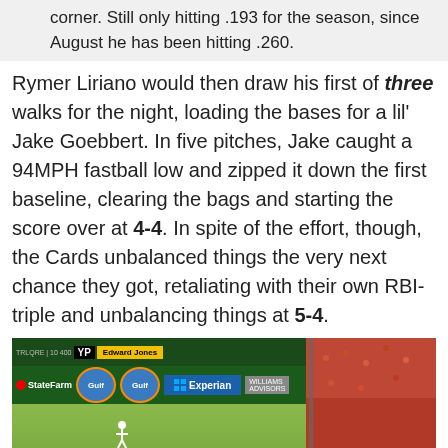corner. Still only hitting .193 for the season, since August he has been hitting .260.
Rymer Liriano would then draw his first of three walks for the night, loading the bases for a lil' Jake Goebbert. In five pitches, Jake caught a 94MPH fastball low and zipped it down the first baseline, clearing the bags and starting the score over at 4-4. In spite of the effort, though, the Cards unbalanced things the very next chance they got, retaliating with their own RBI-triple and unbalancing things at 5-4.
[Figure (photo): Baseball stadium outfield view showing outfield wall with sponsor advertisements (YP, Edward Jones, State Farm, Gulf, Experian) and a player running in the outfield. Crowd visible in right side stands. MPH indicator showing 93 MPH in bottom left corner.]